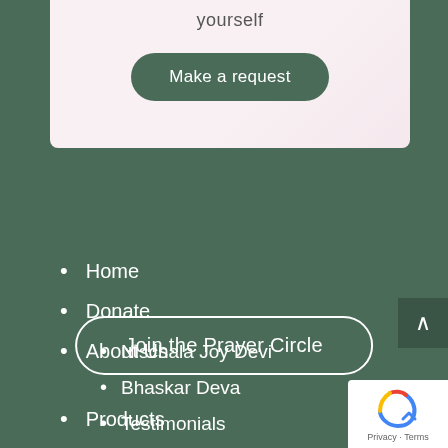[Figure (screenshot): Top section with light pink/white card background showing 'yourself' text and a dark green 'Make a request' button]
yourself
Make a request
Join the Prayer Circle
Home
Donate
About Us
Nischala Joy Devi
Bhaskar Deva
Testimonials
Products